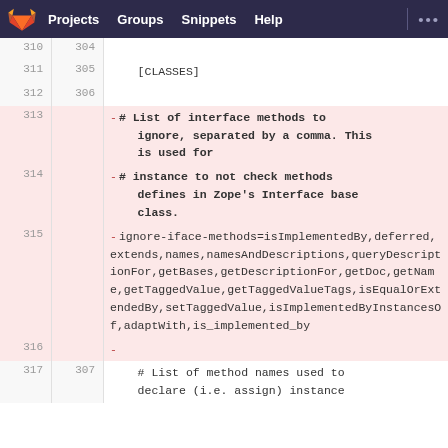GitLab navigation: Projects, Groups, Snippets, Help
[Figure (screenshot): GitLab diff view showing lines 310-317 of a configuration file. Lines 313-316 are removed (highlighted in pink/red). Content includes CLASSES section and ignore-iface-methods configuration with a long list of method names.]